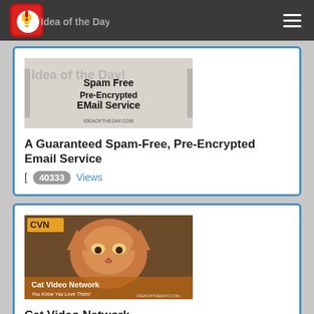Idea of the Day! [navigation bar with logo and hamburger menu]
[Figure (screenshot): Thumbnail image for 'A Guaranteed Spam-Free, Pre-Encrypted Email Service' showing text: Spam Free Pre-Encrypted EMail Service with IDEAOFTHEDAY.COM branding]
A Guaranteed Spam-Free, Pre-Encrypted Email Service
[ 40333 Views
[Figure (photo): Cat Video Network thumbnail showing an orange persian cat face with CVN logo and text 'Cat Video Network - You Know You Love Them! IDEAOFTHEDAY.COM']
Cat Video Network
[ 32983 Views